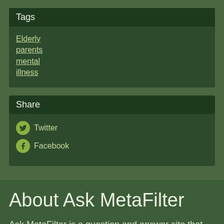Tags
Elderly
parents
mental
illness
Share
Twitter
Facebook
About Ask MetaFilter
Ask MetaFilter is a question and answer site that covers nearly any question on earth, where members help each other solve problems. Ask MetaFilter is where thousands of